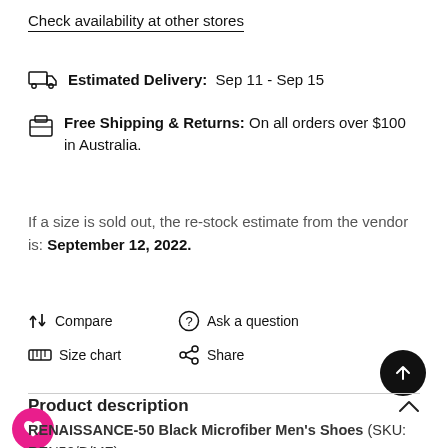Check availability at other stores
Estimated Delivery: Sep 11 - Sep 15
Free Shipping & Returns: On all orders over $100 in Australia.
If a size is sold out, the re-stock estimate from the vendor is: September 12, 2022.
Compare
Ask a question
Size chart
Share
Product description
RENAISSANCE-50 Black Microfiber Men's Shoes (SKU: REN50/B/MF)